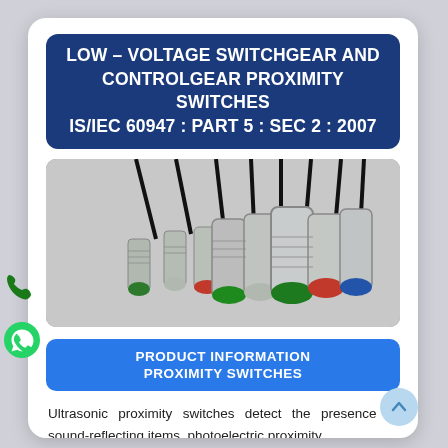LOW – VOLTAGE SWITCHGEAR AND CONTROLGEAR PROXIMITY SWITCHES IS/IEC 60947 : PART 5 : SEC 2 : 2007
[Figure (photo): Photograph of multiple cylindrical metal proximity switches with colored tips (green, red, blue) and black cables attached]
PRODUCT INFORMATION
PROXIMITY SWITCHES
Ultrasonic proximity switches detect the presence of sound-reflecting items, photoelectric proximity